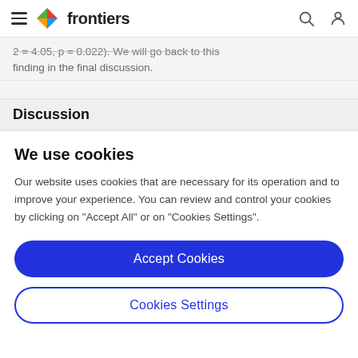frontiers
2 = 4.05, p = 0.022). We will go back to this finding in the final discussion.
Discussion
We use cookies
Our website uses cookies that are necessary for its operation and to improve your experience. You can review and control your cookies by clicking on "Accept All" or on "Cookies Settings".
Accept Cookies
Cookies Settings